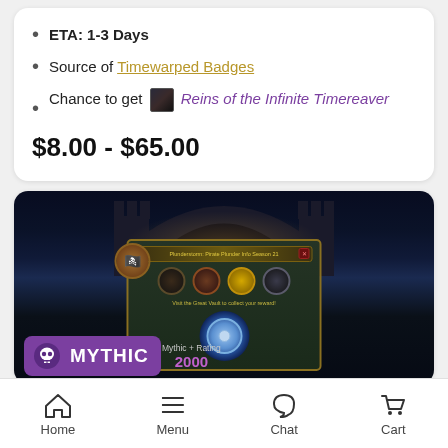ETA: 1-3 Days
Source of Timewarped Badges
Chance to get [icon] Reins of the Infinite Timereaver
$8.00 - $65.00
[Figure (screenshot): World of Warcraft game screenshot showing a Mythic+ season reward dialog with a glowing chest, four circular icons, and a Mythic badge overlay showing rating 2000]
Home  Menu  Chat  Cart